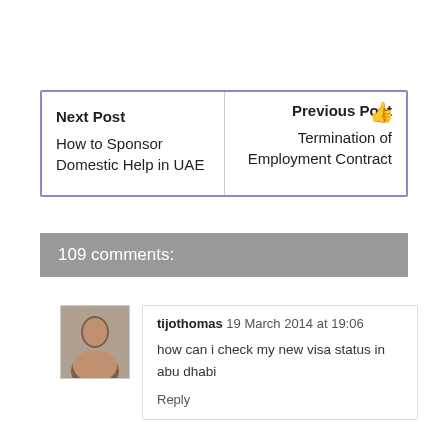| Next Post | Previous Post |
| --- | --- |
| How to Sponsor Domestic Help in UAE | Termination of Employment Contract |
109 comments:
tijothomas 19 March 2014 at 19:06
how can i check my new visa status in abu dhabi
Reply